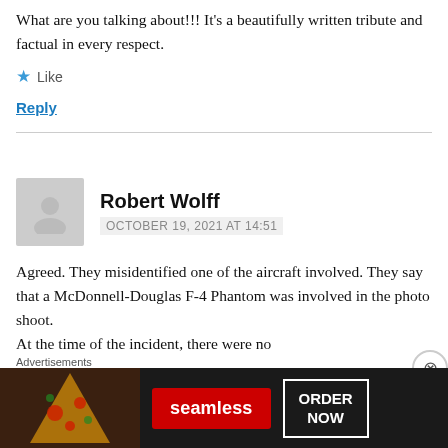What are you talking about!!! It's a beautifully written tribute and factual in every respect.
★ Like
Reply
Robert Wolff
OCTOBER 19, 2021 AT 14:51
Agreed. They misidentified one of the aircraft involved. They say that a McDonnell-Douglas F-4 Phantom was involved in the photo shoot. At the time of the incident, there were no
[Figure (screenshot): Advertisement banner for Seamless food delivery with pizza image, red Seamless logo button, and ORDER NOW button]
Advertisements